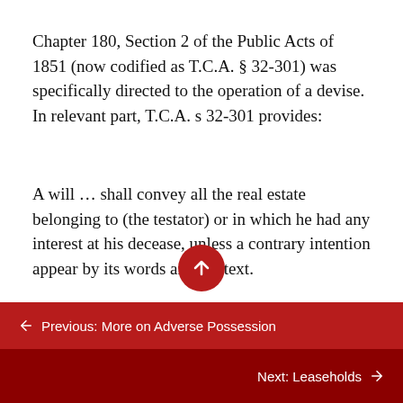Chapter 180, Section 2 of the Public Acts of 1851 (now codified as T.C.A. § 32-301) was specifically directed to the operation of a devise. In relevant part, T.C.A. s 32-301 provides:
A will … shall convey all the real estate belonging to (the testator) or in which he had any interest at his decease, unless a contrary intention appear by its words and context.
← Previous: More on Adverse Possession
Next: Leaseholds →